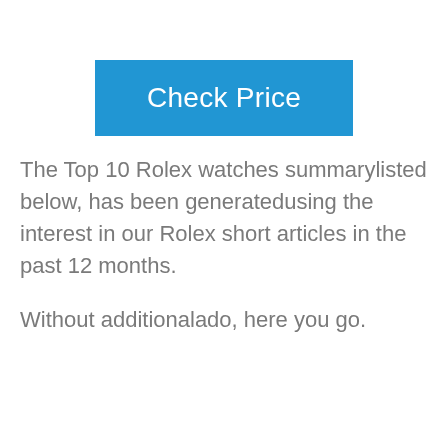[Figure (other): Blue 'Check Price' button]
The Top 10 Rolex watches summarylisted below, has been generatedusing the interest in our Rolex short articles in the past 12 months.
Without additionalado, here you go.